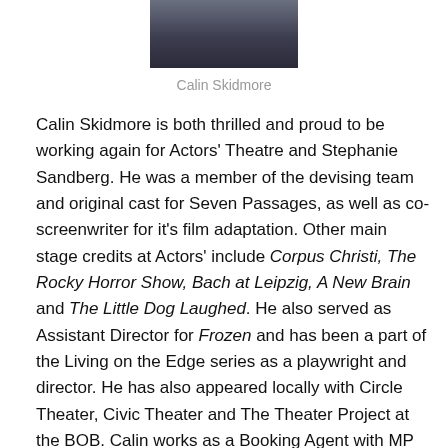[Figure (photo): Headshot photo of Calin Skidmore, partially visible at top of page]
Calin Skidmore
Calin Skidmore is both thrilled and proud to be working again for Actors' Theatre and Stephanie Sandberg. He was a member of the devising team and original cast for Seven Passages, as well as co-screenwriter for it's film adaptation. Other main stage credits at Actors' include Corpus Christi, The Rocky Horror Show, Bach at Leipzig, A New Brain and The Little Dog Laughed. He also served as Assistant Director for Frozen and has been a part of the Living on the Edge series as a playwright and director. He has also appeared locally with Circle Theater, Civic Theater and The Theater Project at the BOB. Calin works as a Booking Agent with MP Talent Agency in Grand Rapids. "I owe great thanks to all who have pushed me to